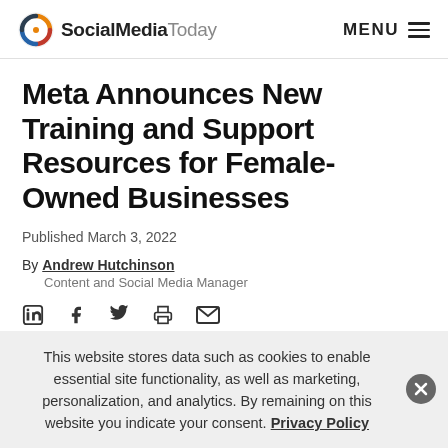SocialMediaToday | MENU
Meta Announces New Training and Support Resources for Female-Owned Businesses
Published March 3, 2022
By Andrew Hutchinson
Content and Social Media Manager
[Figure (other): Social sharing icons: LinkedIn, Facebook, Twitter, Print, Email]
This website stores data such as cookies to enable essential site functionality, as well as marketing, personalization, and analytics. By remaining on this website you indicate your consent. Privacy Policy